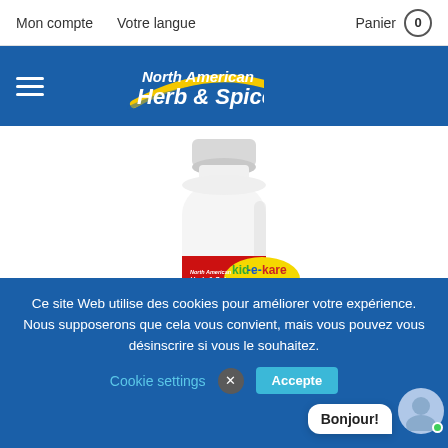Mon compte   Votre langue   Panier 0
[Figure (logo): North American Herb & Spice logo on blue header bar with hamburger menu icon]
[Figure (photo): White supplement bottle with red label showing 'kid-e-kare' by North American Herb & Spice, 60 softgels 140mg Dietary Supplement]
Ce site Web utilise des cookies pour améliorer votre expérience. Nous supposerons que cela vous convient, mais vous pouvez vous désinscrire si vous le souhaitez.
Cookie settings
Bonjour!